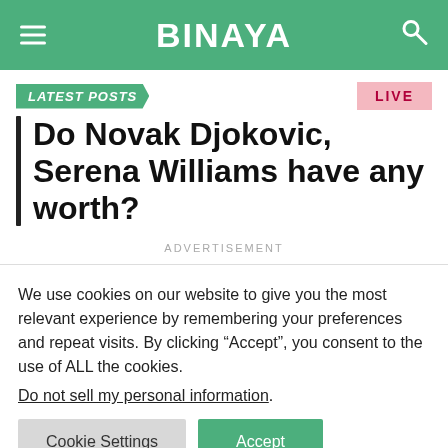BINAYA
LATEST POSTS
Do Novak Djokovic, Serena Williams have any worth?
ADVERTISEMENT
We use cookies on our website to give you the most relevant experience by remembering your preferences and repeat visits. By clicking “Accept”, you consent to the use of ALL the cookies.
Do not sell my personal information.